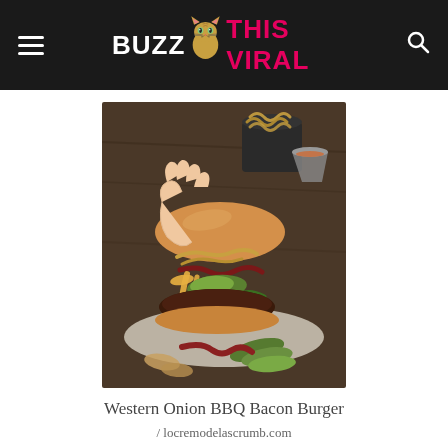BUZZ THIS VIRAL
[Figure (photo): A hand holding a large Western Onion BBQ Bacon Burger with avocado slices, bacon, melted cheese, and crispy onion rings on a plate, with a bucket of curly fries and a dipping sauce in the background.]
Western Onion BBQ Bacon Burger
/ locremodelascrumb.com